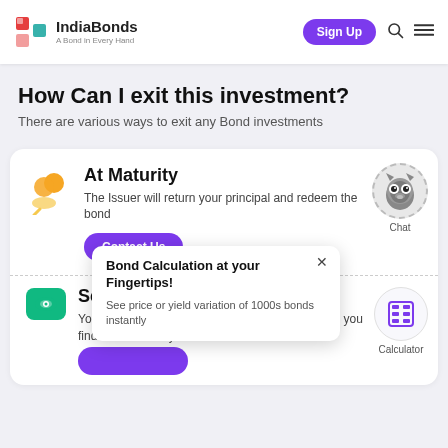[Figure (logo): IndiaBonds logo with colored icon and tagline 'A Bond in Every Hand']
How Can I exit this investment?
There are various ways to exit any Bond investments
At Maturity
The Issuer will return your principal and redeem the bond
Sell
You can sell your bond anytime you want. We will you find a suitable buyer
Bond Calculation at your Fingertips!
See price or yield variation of 1000s bonds instantly